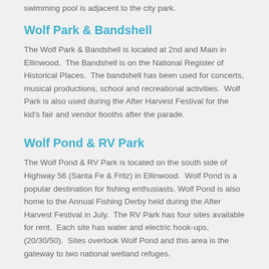swimming pool is adjacent to the city park.
Wolf Park & Bandshell
The Wolf Park & Bandshell is located at 2nd and Main in Ellinwood.  The Bandshell is on the National Register of Historical Places.  The bandshell has been used for concerts, musical productions, school and recreational activities.  Wolf Park is also used during the After Harvest Festival for the kid's fair and vendor booths after the parade.
Wolf Pond & RV Park
The Wolf Pond & RV Park is located on the south side of Highway 56 (Santa Fe & Fritz) in Ellinwood.  Wolf Pond is a popular destination for fishing enthusiasts.  Wolf Pond is also home to the Annual Fishing Derby held during the After Harvest Festival in July.  The RV Park has four sites available for rent.  Each site has water and electric hook-ups, (20/30/50).  Sites overlook Wolf Pond and this area is the gateway to two national wetland refuges.
The hook-up fee is $8.00 per day.  Payment can be made onsite or at the City Office located at 104 East